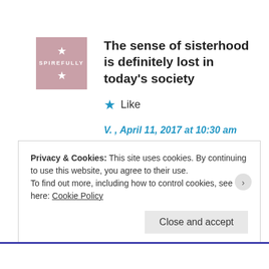[Figure (illustration): Pink/mauve square avatar with a white star and small text, representing a user profile image]
The sense of sisterhood is definitely lost in today's society
★ Like
V. , April 11, 2017 at 10:30 am
Privacy & Cookies: This site uses cookies. By continuing to use this website, you agree to their use.
To find out more, including how to control cookies, see here: Cookie Policy
Close and accept